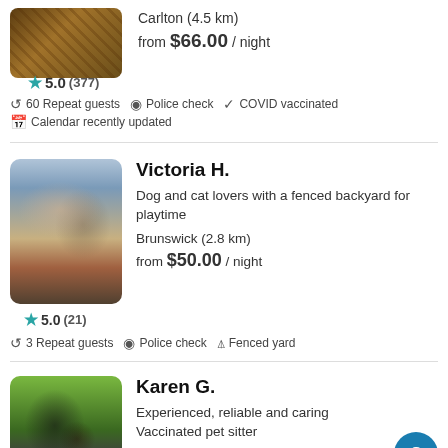Carlton (4.5 km)
5.0 (377)
from $66.00 / night
60 Repeat guests
Police check
COVID vaccinated
Calendar recently updated
Victoria H.
Dog and cat lovers with a fenced backyard for playtime
Brunswick (2.8 km)
from $50.00 / night
5.0 (21)
3 Repeat guests
Police check
Fenced yard
Karen G.
Experienced, reliable and caring Vaccinated pet sitter